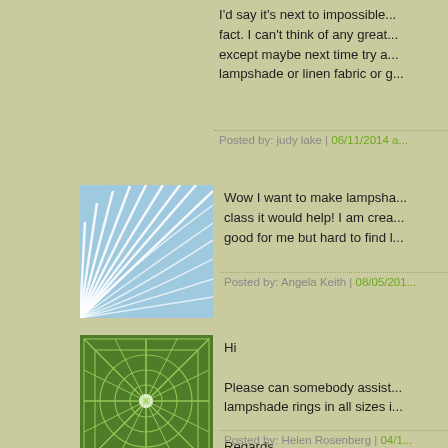I'd say it's next to impossible... fact. I can't think of any great... except maybe next time try a... lampshade or linen fabric or g...
Posted by: judy lake | 06/11/2014 a...
[Figure (illustration): Blue fan/wave pattern avatar image with radiating white lines on light blue background]
Wow I want to make lampsha... class it would help! I am crea... good for me but hard to find l...
Posted by: Angela Keith | 08/05/201...
[Figure (illustration): Green geometric starburst/mandala pattern avatar on dark green background with radial lines and circles]
Hi

Please can somebody assist... lampshade rings in all sizes i...

Regards
Posted by: Helen Rosenberg | 04/1...
[Figure (illustration): Blue-grey geometric mandala avatar with circles, diagonal lines and rotated rectangles]
Hi Helen- my suggestion is to...